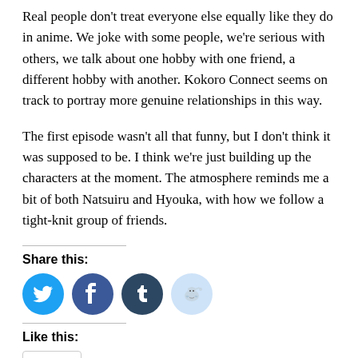Real people don't treat everyone else equally like they do in anime. We joke with some people, we're serious with others, we talk about one hobby with one friend, a different hobby with another. Kokoro Connect seems on track to portray more genuine relationships in this way.
The first episode wasn't all that funny, but I don't think it was supposed to be. I think we're just building up the characters at the moment. The atmosphere reminds me a bit of both Natsuiru and Hyouka, with how we follow a tight-knit group of friends.
Share this:
[Figure (infographic): Four social media share buttons: Twitter (cyan circle with bird icon), Facebook (blue circle with f icon), Tumblr (dark navy circle with t icon), Reddit (light blue circle with alien mascot icon)]
Like this:
[Figure (infographic): A Like button with a star icon and the text 'Like']